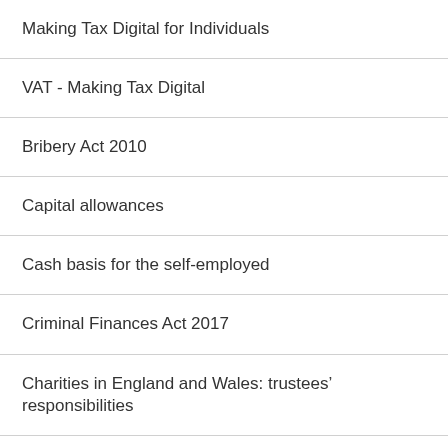Making Tax Digital for Individuals
VAT - Making Tax Digital
Bribery Act 2010
Capital allowances
Cash basis for the self-employed
Criminal Finances Act 2017
Charities in England and Wales: trustees’ responsibilities
Charities in Scotland: trustees' responsibilities
Employed or self employed?
Employer supported childcare